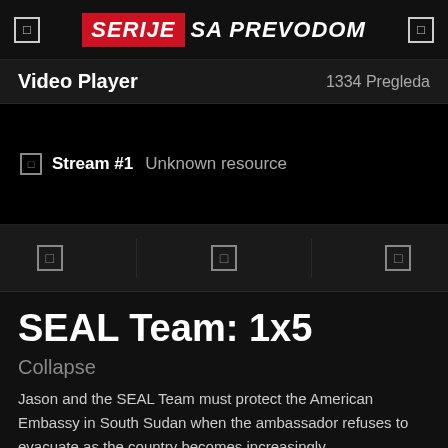SERIJE SA PREVODOM
Video Player  1334 Pregleda
Stream #1  Unknown resource
SEAL Team: 1x5
Collapse
Jason and the SEAL Team must protect the American Embassy in South Sudan when the ambassador refuses to evacuate as the country becomes increasingly